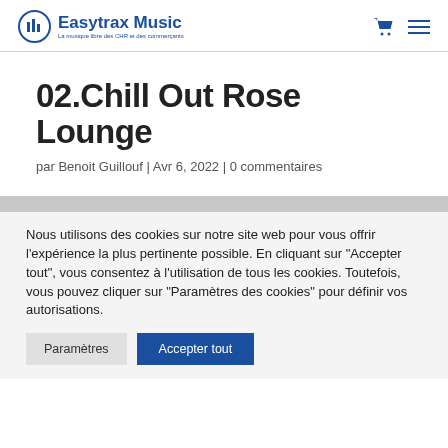Easytrax Music — La musique libre des CHR et des commerçants
02.Chill Out Rose Lounge
par Benoit Guillouf | Avr 6, 2022 | 0 commentaires
Nous utilisons des cookies sur notre site web pour vous offrir l'expérience la plus pertinente possible. En cliquant sur "Accepter tout", vous consentez à l'utilisation de tous les cookies. Toutefois, vous pouvez cliquer sur "Paramètres des cookies" pour définir vos autorisations.